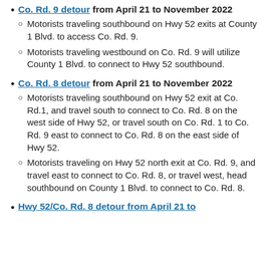Co. Rd. 9 detour from April 21 to November 2022
Motorists traveling southbound on Hwy 52 exits at County 1 Blvd. to access Co. Rd. 9.
Motorists traveling westbound on Co. Rd. 9 will utilize County 1 Blvd. to connect to Hwy 52 southbound.
Co. Rd. 8 detour from April 21 to November 2022
Motorists traveling southbound on Hwy 52 exit at Co. Rd.1, and travel south to connect to Co. Rd. 8 on the west side of Hwy 52, or travel south on Co. Rd. 1 to Co. Rd. 9 east to connect to Co. Rd. 8 on the east side of Hwy 52.
Motorists traveling on Hwy 52 north exit at Co. Rd. 9, and travel east to connect to Co. Rd. 8, or travel west, head southbound on County 1 Blvd. to connect to Co. Rd. 8.
Hwy 52/Co. Rd. 8 detour from April 21 to…